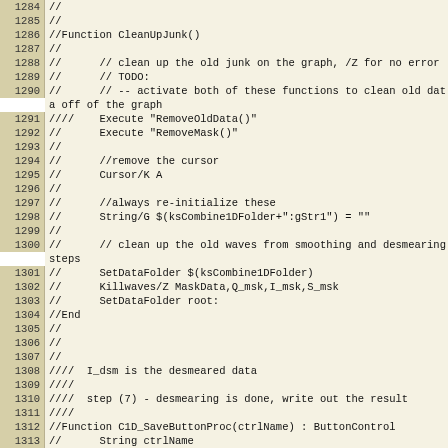[Figure (screenshot): Source code listing showing lines 1284-1313 of an Igor Pro or similar scientific data analysis script. Lines are commented out with // or //// markers, showing functions CleanUpJunk() and C1D_SaveButtonProc(ctrlName) along with variable declarations, data folder operations, and wave operations.]